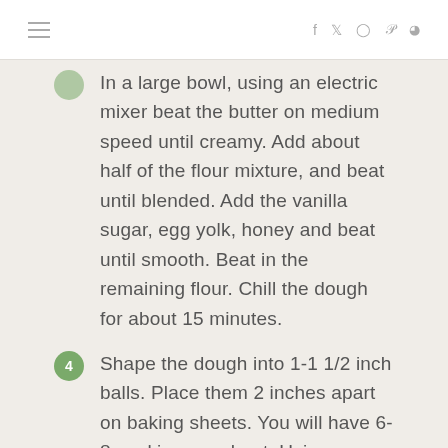≡  f  t  ○  ℗  ⊃
In a large bowl, using an electric mixer beat the butter on medium speed until creamy. Add about half of the flour mixture, and beat until blended. Add the vanilla sugar, egg yolk, honey and beat until smooth. Beat in the remaining flour. Chill the dough for about 15 minutes.
Shape the dough into 1-1 1/2 inch balls. Place them 2 inches apart on baking sheets. You will have 6-8 cookies per sheet. Using a